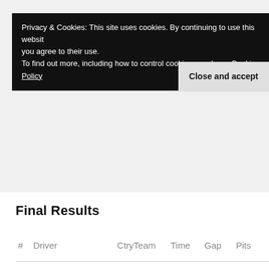Privacy & Cookies: This site uses cookies. By continuing to use this website, you agree to their use.
To find out more, including how to control cookies, see here: Cookie Policy
Close and accept
Final Results
| # | Driver | CtryTeam | Time | Gap | Pits |
| --- | --- | --- | --- | --- | --- |